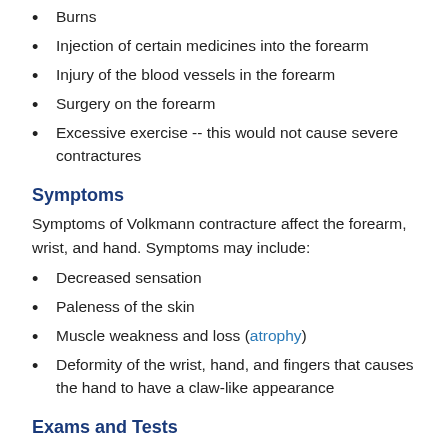Burns
Injection of certain medicines into the forearm
Injury of the blood vessels in the forearm
Surgery on the forearm
Excessive exercise -- this would not cause severe contractures
Symptoms
Symptoms of Volkmann contracture affect the forearm, wrist, and hand. Symptoms may include:
Decreased sensation
Paleness of the skin
Muscle weakness and loss (atrophy)
Deformity of the wrist, hand, and fingers that causes the hand to have a claw-like appearance
Exams and Tests
The health care provider will perform a physical exam,